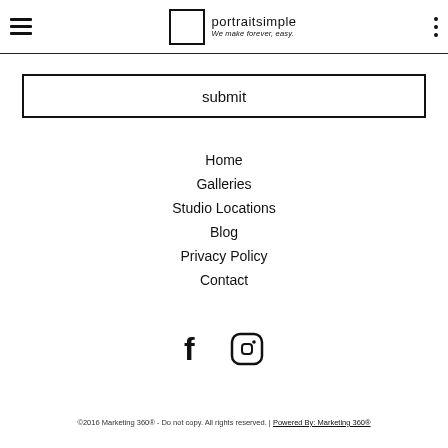portraitsimple — We make forever, easy.
submit
Home
Galleries
Studio Locations
Blog
Privacy Policy
Contact
[Figure (logo): Facebook and Instagram icons]
©2016 Marketing 360® - Do not copy. All rights reserved. | Powered By: Marketing 360®